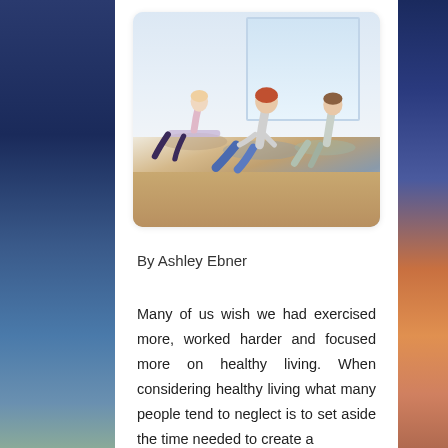[Figure (photo): Three women doing yoga cobra pose on mats in a bright studio with large windows and wooden floors.]
By Ashley Ebner
Many of us wish we had exercised more, worked harder and focused more on healthy living. When considering healthy living what many people tend to neglect is to set aside the time needed to create a